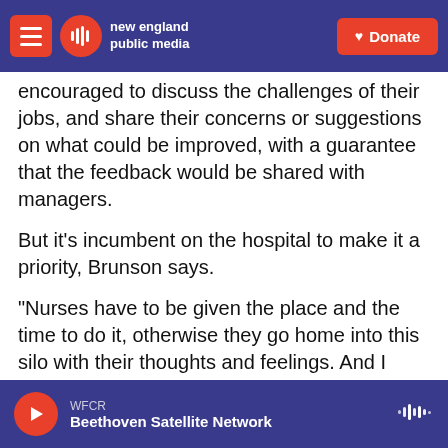new england public media — Donate
encouraged to discuss the challenges of their jobs, and share their concerns or suggestions on what could be improved, with a guarantee that the feedback would be shared with managers.
But it's incumbent on the hospital to make it a priority, Brunson says.
"Nurses have to be given the place and the time to do it, otherwise they go home into this silo with their thoughts and feelings. And I don't think that it's offered as much as it should be," she says.
Shorter huddles — at the beginning and end of
WFCR — Beethoven Satellite Network